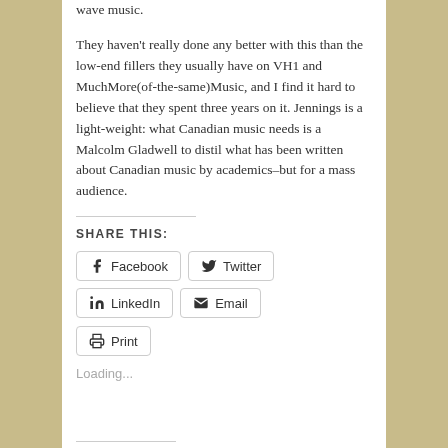wave music.
They haven't really done any better with this than the low-end fillers they usually have on VH1 and MuchMore(of-the-same)Music, and I find it hard to believe that they spent three years on it. Jennings is a light-weight: what Canadian music needs is a Malcolm Gladwell to distil what has been written about Canadian music by academics–but for a mass audience.
SHARE THIS:
Facebook  Twitter  LinkedIn  Email  Print
Loading...
RELATED